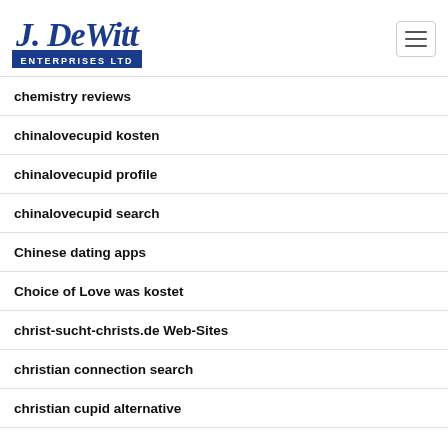[Figure (logo): J. DeWitt Enterprises Ltd logo in blue script and block letters]
chemistry reviews
chinalovecupid kosten
chinalovecupid profile
chinalovecupid search
Chinese dating apps
Choice of Love was kostet
christ-sucht-christs.de Web-Sites
christian connection search
christian cupid alternative